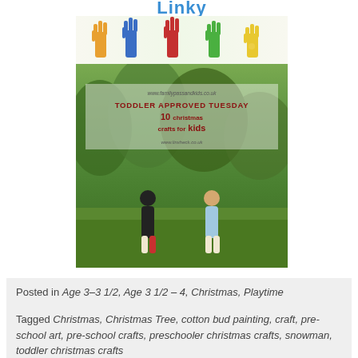[Figure (illustration): Two stacked images: top shows colorful painted children's hands raised up against a white/yellow background with the word 'Linky' in blue, bottom shows two children standing in a garden with overlaid text reading 'TODDLER APPROVED TUESDAY' and website URLs]
Posted in Age 3-3 1/2, Age 3 1/2 - 4, Christmas, Playtime
Tagged Christmas, Christmas Tree, cotton bud painting, craft, pre-school art, pre-school crafts, preschooler christmas crafts, snowman, toddler christmas crafts